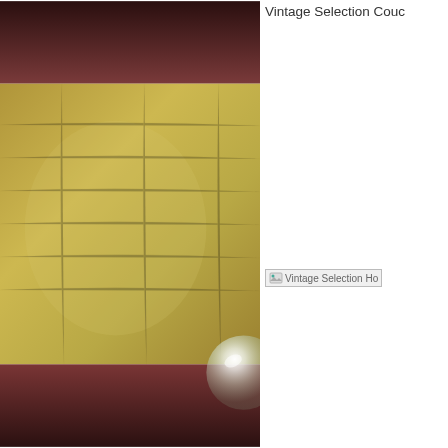[Figure (photo): A close-up photo of a room interior showing a curved brown/mauve wall or piece of furniture at top and bottom, with a large golden-tan leather or suede textured panel in the center. A transparent glass globe or orb is partially visible at the lower right of the panel.]
Vintage Selection Couc
[Figure (photo): Broken/missing image thumbnail labeled Vintage Selection Ho]
Vintage Selection Hock
[Figure (photo): Broken/missing image thumbnail labeled Vintage Selection Ho]
Vintage Selection Hock